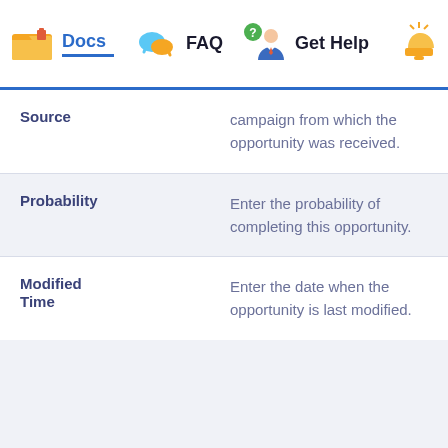Docs  FAQ  Get Help
| Field | Description |
| --- | --- |
| Source | campaign from which the opportunity was received. |
| Probability | Enter the probability of completing this opportunity. |
| Modified Time | Enter the date when the opportunity is last modified. |